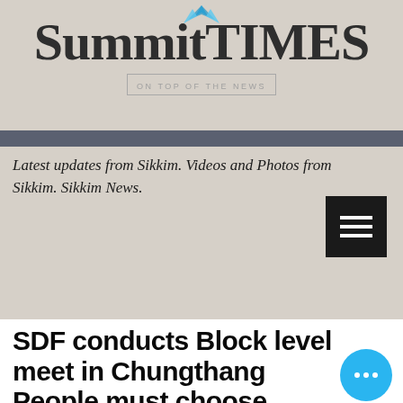SummitTIMES
ON TOP OF THE NEWS
Latest updates from Sikkim. Videos and Photos from Sikkim. Sikkim News.
SDF conducts Block level meet in Chungthang People must choose